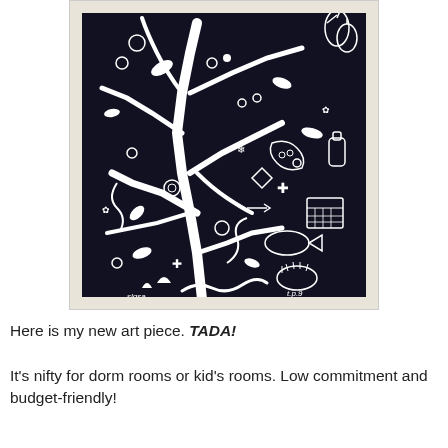[Figure (illustration): A framed art piece with a black background featuring intricate white illustrated botanical and nature-inspired patterns including branches, fruits, leaves, vegetables, and various organic shapes arranged densely across the surface. The frame is a cream/off-white color.]
Here is my new art piece. TADA!
It's nifty for dorm rooms or kid's rooms. Low commitment and budget-friendly!